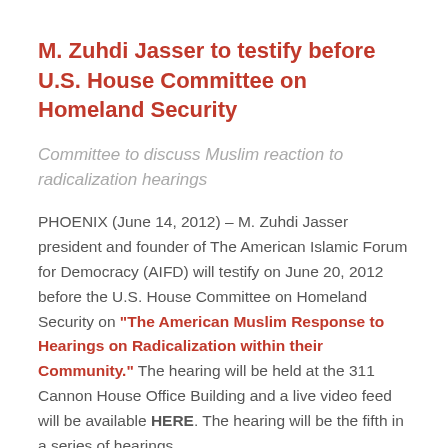M. Zuhdi Jasser to testify before U.S. House Committee on Homeland Security
Committee to discuss Muslim reaction to radicalization hearings
PHOENIX (June 14, 2012) – M. Zuhdi Jasser president and founder of The American Islamic Forum for Democracy (AIFD) will testify on June 20, 2012 before the U.S. House Committee on Homeland Security on "The American Muslim Response to Hearings on Radicalization within their Community." The hearing will be held at the 311 Cannon House Office Building and a live video feed will be available HERE. The hearing will be the fifth in a series of hearings